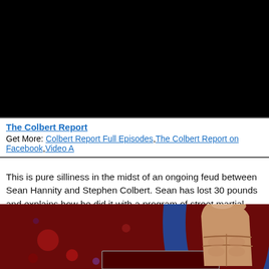[Figure (screenshot): Black video player area at top of page]
The Colbert Report
Get More: Colbert Report Full Episodes, The Colbert Report on Facebook, Video A...
This is pure silliness in the midst of an ongoing feud between Sean Hannity and Stephen Colbert. Sean has lost 30 pounds and explains how he did it with a program of street martial arts, including “blade and firearms training.” Stephen makes tremendous fun of it, including an image showing how using your trigger finger can give you a six pack! Go right to 1:49 to see the mockery begin.
[Figure (screenshot): Screenshot from The Colbert Report showing a finger with a six-pack abdomen on a red and blue background]